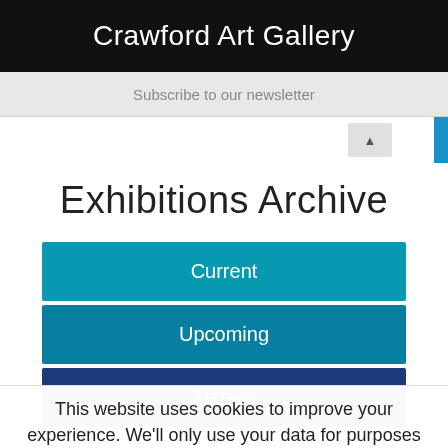Crawford Art Gallery
Subscribe to our newsletter
Exhibitions Archive
Current
Upcoming
Archive
AMANDA
This website uses cookies to improve your experience. We'll only use your data for purposes